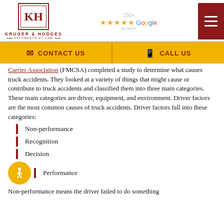[Figure (logo): Kruger & Hodges Attorneys at Law logo with KH monogram in red border box]
[Figure (other): 150+ Google Reviews with 5 stars rating]
[Figure (other): Dark red hamburger menu button]
CONTACT US
CALL US
Carrier Association (FMCSA) completed a study to determine what causes truck accidents. They looked at a variety of things that might cause or contribute to truck accidents and classified them into three main categories. These main categories are driver, equipment, and environment. Driver factors are the most common causes of truck accidents. Driver factors fall into these categories:
Non-performance
Recognition
Decision
Performance
Non-performance means the driver failed to do something